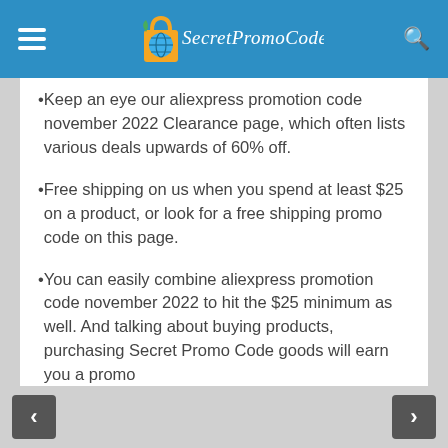SecretPromoCode
Keep an eye our aliexpress promotion code november 2022 Clearance page, which often lists various deals upwards of 60% off.
Free shipping on us when you spend at least $25 on a product, or look for a free shipping promo code on this page.
You can easily combine aliexpress promotion code november 2022 to hit the $25 minimum as well. And talking about buying products, purchasing Secret Promo Code goods will earn you a promo